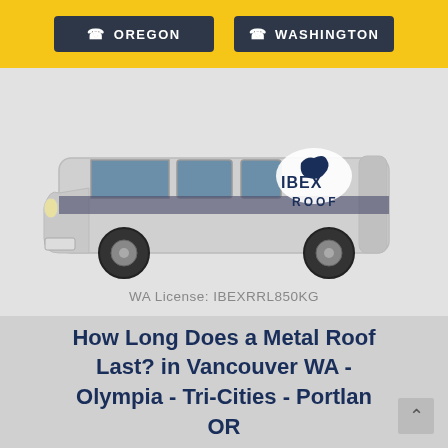OREGON | WASHINGTON
[Figure (photo): IBEX Roof branded white van/car with goat logo and 'IBEX ROOF' text on the side panel]
WA License: IBEXRRL850KG
How Long Does a Metal Roof Last? in Vancouver WA - Olympia - Tri-Cities - Portlan OR